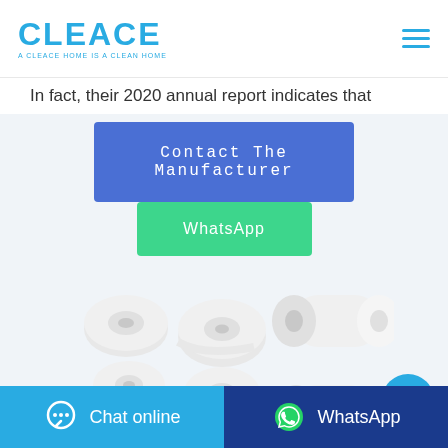CLEACE — A CLEACE HOME IS A CLEAN HOME
In fact, their 2020 annual report indicates that
[Figure (screenshot): Blue button reading 'Contact The Manufacturer']
[Figure (screenshot): Green button reading 'WhatsApp']
[Figure (illustration): Six toilet paper rolls and paper towel rolls arranged in two rows on a light blue background]
[Figure (screenshot): Circular cyan chat bubble icon button on the right side]
Chat online  |  WhatsApp